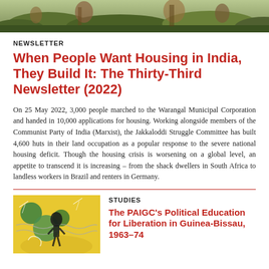[Figure (photo): Photographic banner image showing people outdoors with green foliage in the background]
NEWSLETTER
When People Want Housing in India, They Build It: The Thirty-Third Newsletter (2022)
On 25 May 2022, 3,000 people marched to the Warangal Municipal Corporation and handed in 10,000 applications for housing. Working alongside members of the Communist Party of India (Marxist), the Jakkaloddi Struggle Committee has built 4,600 huts in their land occupation as a popular response to the severe national housing deficit. Though the housing crisis is worsening on a global level, an appetite to transcend it is increasing – from the shack dwellers in South Africa to landless workers in Brazil and renters in Germany.
[Figure (illustration): Yellow background illustration with a figure and barbed wire / artistic design elements in green and grey]
STUDIES
The PAIGC's Political Education for Liberation in Guinea-Bissau, 1963–74